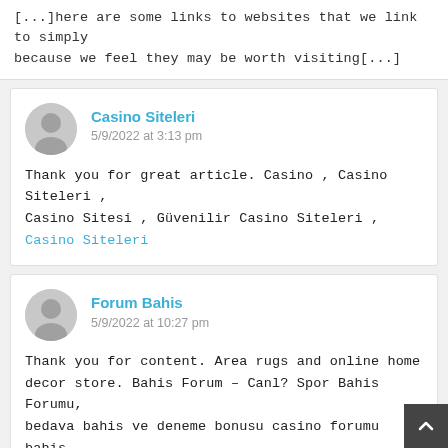[...]here are some links to websites that we link to simply because we feel they may be worth visiting[...]
Casino Siteleri
5/9/2022 at 3:13 pm
Thank you for great article. Casino , Casino Siteleri , Casino Sitesi , Güvenilir Casino Siteleri , Casino Siteleri
Forum Bahis
5/9/2022 at 10:27 pm
Thank you for content. Area rugs and online home decor store. Bahis Forum – Canl? Spor Bahis Forumu, bedava bahis ve deneme bonusu casino forumu bahis forumu , deneme bonusu bahis forum ve en iyi bahis f... Forum Bahis